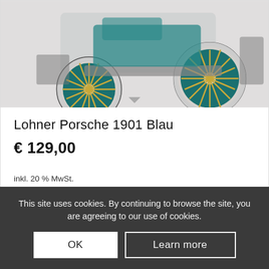[Figure (photo): Close-up photo of a Lohner Porsche 1901 model car in blue/teal color with white tires and gold-colored spokes, photographed on a white/light background.]
Lohner Porsche 1901 Blau
€ 129,00
inkl. 20 % MwSt.
zzgl. Versandkosten
This site uses cookies. By continuing to browse the site, you are agreeing to our use of cookies.
OK
Learn more